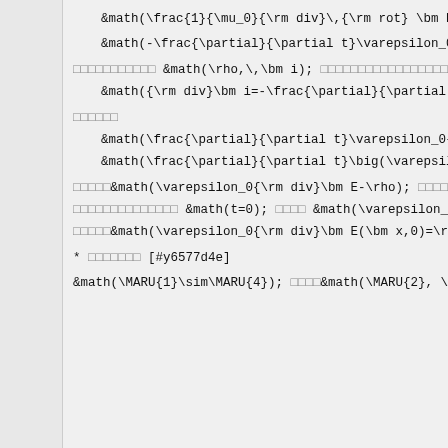□□□□□□□□□□□ &math(\rho,\,\bm i); □□□□□□□□□□□□□□□□□
□□□□□□
□□□□□&math(\varepsilon_0{\rm div}\bm E-\rho); □□□□□□□
□□□□□□□□□□□□□□ &math(t=0); □□□□ &math(\varepsilon_0{\ldots
□□□□□&math(\varepsilon_0{\rm div}\bm E(\bm x,0)=\rho
* □□□□□□□ [#y6577d4e]